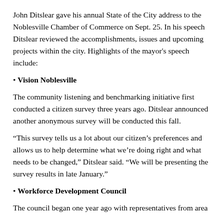John Ditslear gave his annual State of the City address to the Noblesville Chamber of Commerce on Sept. 25. In his speech Ditslear reviewed the accomplishments, issues and upcoming projects within the city. Highlights of the mayor's speech include:
• Vision Noblesville
The community listening and benchmarking initiative first conducted a citizen survey three years ago. Ditslear announced another anonymous survey will be conducted this fall.
“This survey tells us a lot about our citizen’s preferences and allows us to help determine what we’re doing right and what needs to be changed,” Ditslear said. “We will be presenting the survey results in late January.”
• Workforce Development Council
The council began one year ago with representatives from area